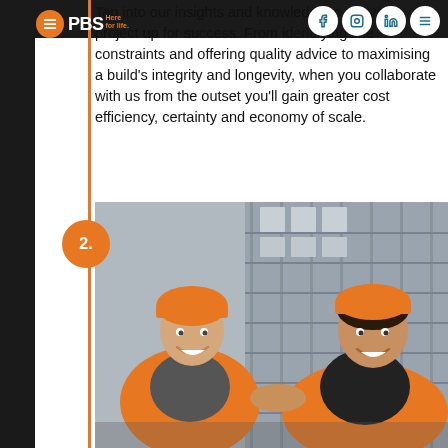PBS Here for life.
Tap into our insights and knowledge to set your project up for success. From identifying site constraints and offering quality advice to maximising a build's integrity and longevity, when you collaborate with us from the outset you'll gain greater cost efficiency, certainty and economy of scale.
2.
[Figure (photo): Two construction workers in orange high-visibility vests and orange hard hats shaking hands and smiling at a building construction site with scaffolding in the background.]